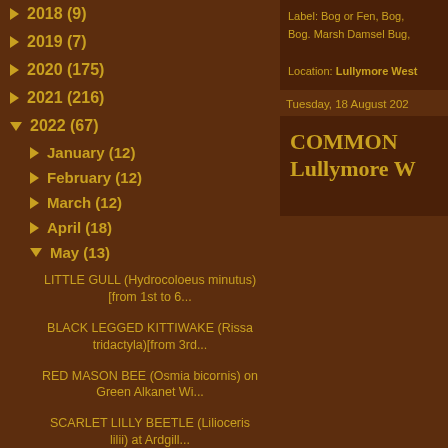► 2018 (9)
► 2019 (7)
► 2020 (175)
► 2021 (216)
▼ 2022 (67)
► January (12)
► February (12)
► March (12)
► April (18)
▼ May (13)
LITTLE GULL (Hydrocoloeus minutus) [from 1st to 6...
BLACK LEGGED KITTIWAKE (Rissa tridactyla)[from 3rd...
RED MASON BEE (Osmia bicornis) on Green Alkanet Wi...
SCARLET LILLY BEETLE (Lilioceris lilii) at Ardgill...
Label: Bog or Fen, Bog, Bog. Marsh Damsel Bug,
Location: Lullymore West
Tuesday, 18 August 202
COMMON Lullymore W
[Figure (photo): Nature/wildlife photo showing blurred bokeh background with green and white tones, partially visible flowers or plants]